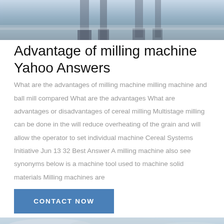[Figure (photo): Industrial milling machine equipment on a factory floor, top portion visible]
Advantage of milling machine Yahoo Answers
What are the advantages of milling machine milling machine and ball mill compared What are the advantages What are advantages or disadvantages of cereal milling Multistage milling can be done in the will reduce overheating of the grain and will allow the operator to set individual machine Cereal Systems Initiative Jun 13 32 Best Answer A milling machine also see synonyms below is a machine tool used to machine solid materials Milling machines are
[Figure (other): Blue contact now button]
[Figure (photo): Outdoor industrial or construction scene with green machinery and overcast sky, bottom portion of page]